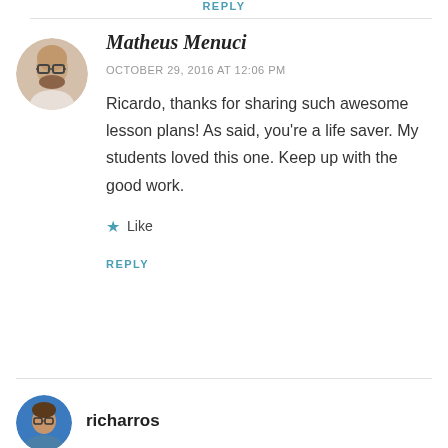REPLY
[Figure (photo): Circular avatar of Matheus Menuci — a bald man with glasses and a beard, wearing a light-colored shirt, against a white background.]
Matheus Menuci
OCTOBER 29, 2016 AT 12:06 PM
Ricardo, thanks for sharing such awesome lesson plans! As said, you're a life saver. My students loved this one. Keep up with the good work.
★ Like
REPLY
[Figure (photo): Partial circular avatar of richarros — a man with glasses, partially visible at the bottom of the page.]
richarros